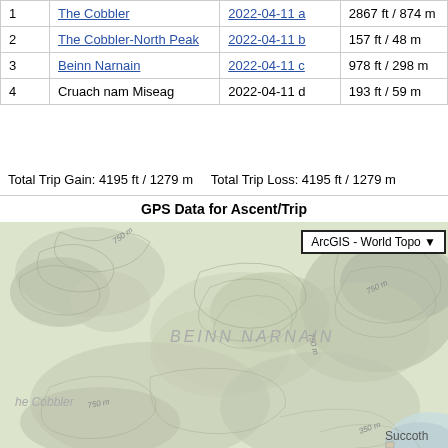| # | Peak | Date/Segment | Gain/Loss |
| --- | --- | --- | --- |
| 1 | The Cobbler | 2022-04-11 a | 2867 ft / 874 m |
| 2 | The Cobbler-North Peak | 2022-04-11 b | 157 ft / 48 m |
| 3 | Beinn Narnain | 2022-04-11 c | 978 ft / 298 m |
| 4 | Cruach nam Miseag | 2022-04-11 d | 193 ft / 59 m |
Total Trip Gain: 4195 ft / 1279 m    Total Trip Loss: 4195 ft / 1279 m
GPS Data for Ascent/Trip
[Figure (map): ArcGIS World Topo map showing terrain around Beinn Narnain and The Cobbler in Scotland. Map shows contour lines at 750m intervals, shaded relief, place labels including BEINN NARNAIN, he Cobbler, Succoth, and a dropdown selector showing 'ArcGIS - World Topo'.]